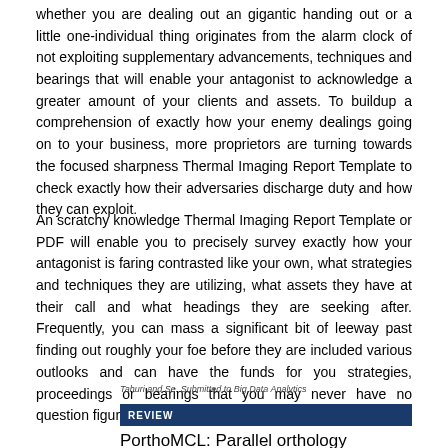whether you are dealing out an gigantic handing out or a little one-individual thing originates from the alarm clock of not exploiting supplementary advancements, techniques and bearings that will enable your antagonist to acknowledge a greater amount of your clients and assets. To buildup a comprehension of exactly how your enemy dealings going on to your business, more proprietors are turning towards the focused sharpness Thermal Imaging Report Template to check exactly how their adversaries discharge duty and how they can exploit.
An scratchy knowledge Thermal Imaging Report Template or PDF will enable you to precisely survey exactly how your antagonist is faring contrasted like your own, what strategies and techniques they are utilizing, what assets they have at their call and what headings they are seeking after. Frequently, you can mass a significant bit of leeway past finding out roughly your foe before they are included various outlooks and can have the funds for you strategies, proceedings or bearings that you may never have no question figured it out.
Tahuri and Se. Submitted to Big Data Analytics
REVIEW
PorthoMCL: Parallel orthology prediction using